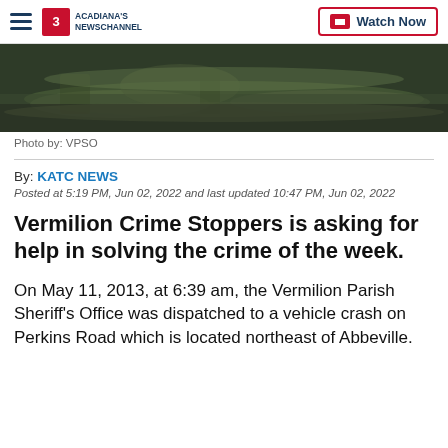ACADIANA'S NEWSCHANNEL | Watch Now
[Figure (photo): Outdoor landscape photo showing a grassy area with water/swamp and vegetation in the background]
Photo by: VPSO
By: KATC NEWS
Posted at 5:19 PM, Jun 02, 2022 and last updated 10:47 PM, Jun 02, 2022
Vermilion Crime Stoppers is asking for help in solving the crime of the week.
On May 11, 2013, at 6:39 am, the Vermilion Parish Sheriff's Office was dispatched to a vehicle crash on Perkins Road which is located northeast of Abbeville.